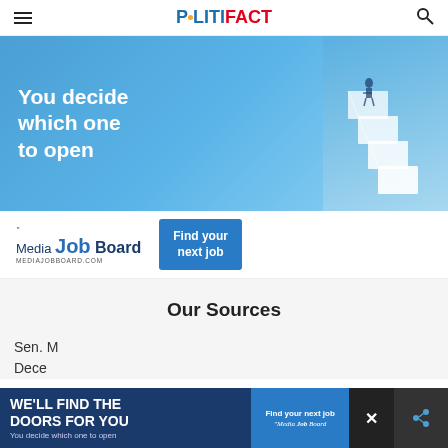POLITIFACT
[Figure (illustration): Advertisement banner: 'You decide which one to open' with a blue background and staircase graphic with a figure standing on top, for Media Job Board]
[Figure (illustration): The Media Job Board logo with 'Find your next job' button in blue]
Our Sources
Sen. Mary Landrieu, D-La., accessed December...
[Figure (illustration): Bottom overlay advertisement: 'WE'LL FIND THE DOORS FOR YOU - You decide which one to open' with Media Job Board branding and Find your next job button, with close X button and share button]